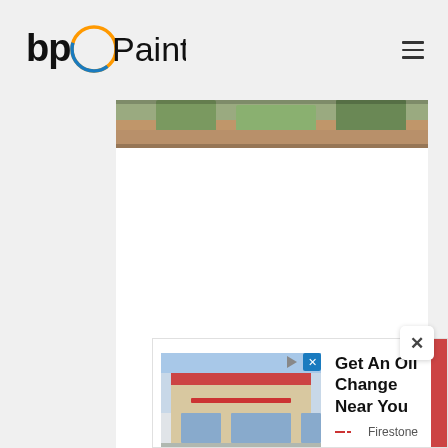bp Painting
[Figure (photo): Cropped outdoor/nature photo strip at top of content area]
[Figure (photo): Advertisement banner: Firestone auto service store exterior photo with text 'Get An Oil Change Near You']
Get An Oil Change Near You
Firestone